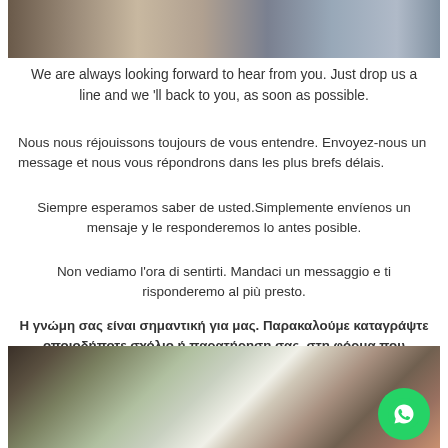[Figure (photo): Top portion of photo showing people working at a laptop, partially cropped]
We are always looking forward to hear from you. Just drop us a line and we 'll back to you, as soon as possible.
Nous nous réjouissons toujours de vous entendre. Envoyez-nous un message et nous vous répondrons dans les plus brefs délais.
Siempre esperamos saber de usted.Simplemente envíenos un mensaje y le responderemos lo antes posible.
Non vediamo l'ora di sentirti. Mandaci un messaggio e ti risponderemo al più presto.
Η γνώμη σας είναι σημαντική για μας. Παρακαλούμε καταγράψτε οποιοδήποτε σχόλιο ή παρατήρηση σας, στη φόρμα που ακολουθεί. Σύντομα θα έχετε την απάντηση μας.
[Figure (photo): Bottom portion of photo showing people in an office/meeting room with plants, a woman with red hair smiling, and a WhatsApp button overlay]